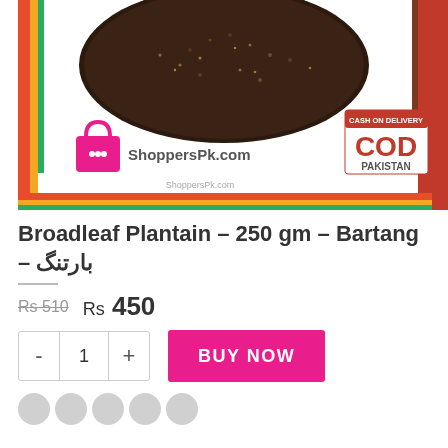[Figure (photo): Product image of Broadleaf Plantain seeds (dark brown/black granules) on a product card with colorful border. Shows ShoppersPk.com logo (pink handbag icon) and COD Pakistan badge.]
Broadleaf Plantain – 250 gm – Bartang – بارتنگ
Rs 510  Rs 450
- 1 +  BUY NOW